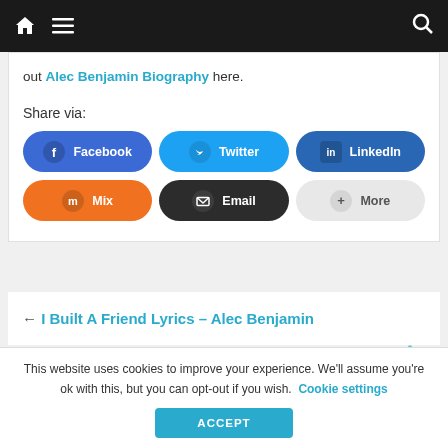Navigation bar with home, menu, and search icons
out Alec Benjamin Biography here.
Share via:
[Figure (infographic): Social share buttons: Facebook, Twitter, LinkedIn, Mix, Email, More]
← I Built A Friend Lyrics – Alec Benjamin
This website uses cookies to improve your experience. We'll assume you're ok with this, but you can opt-out if you wish. Cookie settings
ACCEPT